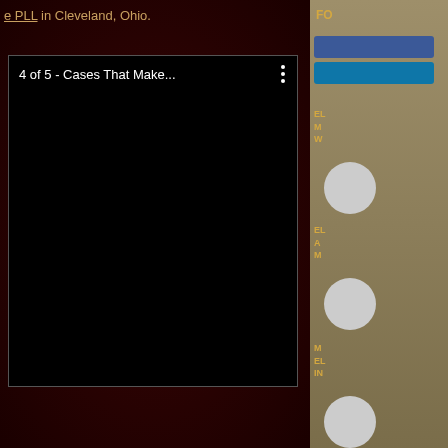e PLL in Cleveland, Ohio.
[Figure (screenshot): Embedded video player showing '4 of 5 - Cases That Make...' with a black screen and a vertical three-dot menu icon in the upper right of the player.]
FO
[Figure (other): Facebook button (blue rectangle)]
[Figure (other): LinkedIn/social button (blue rectangle)]
EL
M
W
[Figure (photo): Circular profile photo placeholder]
EL
A
M
[Figure (photo): Circular profile photo placeholder]
M
EL
IN